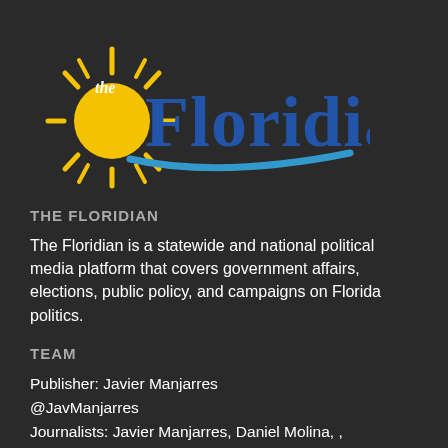[Figure (logo): The Floridian logo: yellow sun with rays on the left, blue text 'the Floridian' with a blue wave swoosh underneath]
THE FLORIDIAN
The Floridian is a statewide and national political media platform that covers government affairs, elections, public policy, and campaigns on Florida politics.
TEAM
Publisher: Javier Manjarres
@JavManjarres
Journalists: Javier Manjarres, Daniel Molina, ,
...